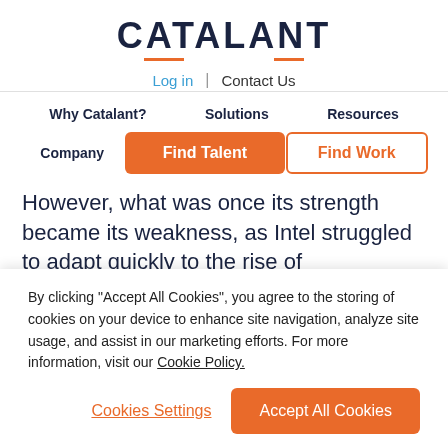CATALANT
Log in | Contact Us
Why Catalant? | Solutions | Resources
Company | Find Talent | Find Work
However, what was once its strength became its weakness, as Intel struggled to adapt quickly to the rise of smartphones, machine learning, cryptocurrency, and other trends that required new kinds of chips. Companies
By clicking “Accept All Cookies”, you agree to the storing of cookies on your device to enhance site navigation, analyze site usage, and assist in our marketing efforts. For more information, visit our Cookie Policy.
Cookies Settings | Accept All Cookies